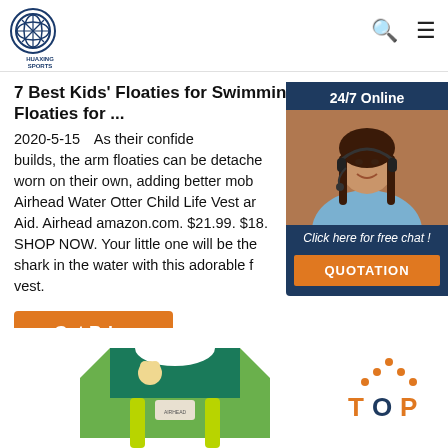HUAXING SPORTS
7 Best Kids’ Floaties for Swimming - Kids Arm Floaties for ...
2020-5-15  As their confidence builds, the arm floaties can be detached worn on their own, adding better mobility. Airhead Water Otter Child Life Vest and Swimming Aid. Airhead amazon.com. $21.99. $18. SHOP NOW. Your little one will be the shark in the water with this adorable float vest.
[Figure (photo): Customer service representative woman with headset smiling, with '24/7 Online' header and 'Click here for free chat!' text, orange QUOTATION button]
Get Price
[Figure (photo): Children's life vest / floatie product in green and teal colors]
[Figure (other): TOP navigation button with orange dots above and T-O-P text in orange/navy]